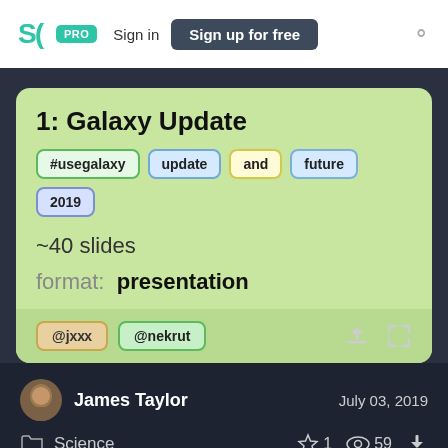SpeakerDeck — PRO Sign in Sign up for free
1: Galaxy Update
#usegalaxy  update  and  future  2019
~40 slides
format: presentation
@jxnx  @nekrut
James Taylor     July 03, 2019
Science     ☆ 1  👁 59